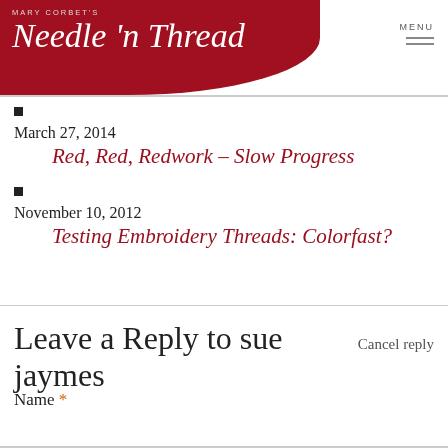Mary Corbet's Needle 'n Thread
■
March 27, 2014
Red, Red, Redwork – Slow Progress
■
November 10, 2012
Testing Embroidery Threads: Colorfast?
Leave a Reply to sue jaymes Cancel reply
Name *